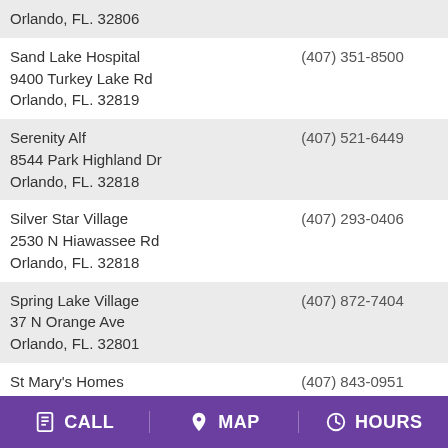| Facility | Phone |
| --- | --- |
| Orlando, FL. 32806 |  |
| Sand Lake Hospital
9400 Turkey Lake Rd
Orlando, FL. 32819 | (407) 351-8500 |
| Serenity Alf
8544 Park Highland Dr
Orlando, FL. 32818 | (407) 521-6449 |
| Silver Star Village
2530 N Hiawassee Rd
Orlando, FL. 32818 | (407) 293-0406 |
| Spring Lake Village
37 N Orange Ave
Orlando, FL. 32801 | (407) 872-7404 |
| St Mary's Homes
718 W Winter Park St
Orlando, FL. 32804 | (407) 843-0951 |
| Sunbelt Living Ctr
2414 Bedford Rd
Orlando, FL. 32803 | (407) 898-5051 |
| Sunbelt Living Ctr | (407) 380-3466 |
CALL   MAP   HOURS